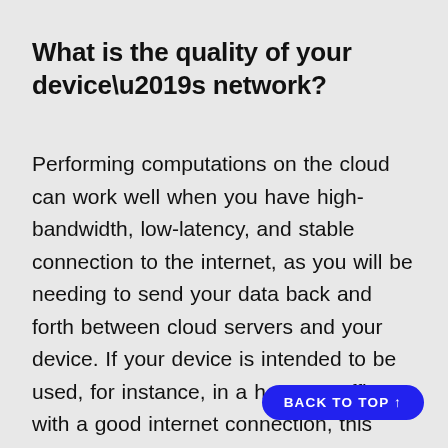What is the quality of your device’s network?
Performing computations on the cloud can work well when you have high-bandwidth, low-latency, and stable connection to the internet, as you will be needing to send your data back and forth between cloud servers and your device. If your device is intended to be used, for instance, in a home or office with a good internet connection, this b can be done relatively seamlessly.